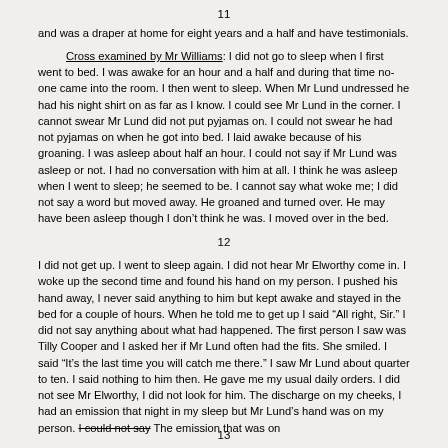11
and was a draper at home for eight years and a half and have testimonials.
Cross examined by Mr Williams: I did not go to sleep when I first went to bed. I was awake for an hour and a half and during that time no-one came into the room. I then went to sleep. When Mr Lund undressed he had his night shirt on as far as I know. I could see Mr Lund in the corner. I cannot swear Mr Lund did not put pyjamas on. I could not swear he had not pyjamas on when he got into bed. I laid awake because of his groaning. I was asleep about half an hour. I could not say if Mr Lund was asleep or not. I had no conversation with him at all. I think he was asleep when I went to sleep; he seemed to be. I cannot say what woke me; I did not say a word but moved away. He groaned and turned over. He may have been asleep though I don't think he was. I moved over in the bed.
12
I did not get up. I went to sleep again. I did not hear Mr Elworthy come in. I woke up the second time and found his hand on my person. I pushed his hand away, I never said anything to him but kept awake and stayed in the bed for a couple of hours. When he told me to get up I said “All right, Sir.” I did not say anything about what had happened. The first person I saw was Tilly Cooper and I asked her if Mr Lund often had the fits. She smiled. I said “It’s the last time you will catch me there.” I saw Mr Lund about quarter to ten. I said nothing to him then. He gave me my usual daily orders. I did not see Mr Elworthy, I did not look for him. The discharge on my cheeks, I had an emission that night in my sleep but Mr Lund’s hand was on my person. I could not say The emission that was on
13